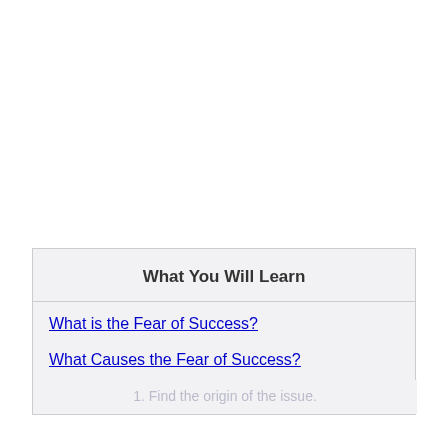What You Will Learn
What is the Fear of Success?
What Causes the Fear of Success?
How to Overcome Fear of Success
1. Find the origin of the issue.